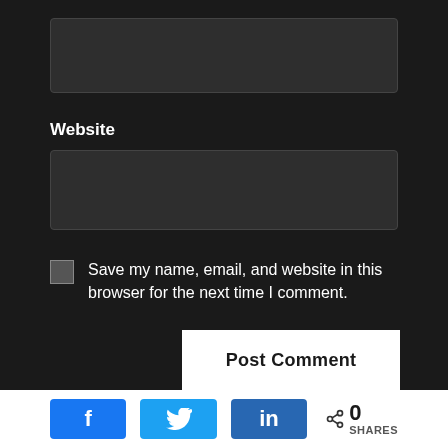[Figure (screenshot): Empty dark text input box at top of form]
Website
[Figure (screenshot): Empty dark text input box for website field]
Save my name, email, and website in this browser for the next time I comment.
[Figure (screenshot): Post Comment white button]
[Figure (infographic): Social share buttons: Facebook (f), Twitter (bird), LinkedIn (in), and share count showing 0 SHARES]